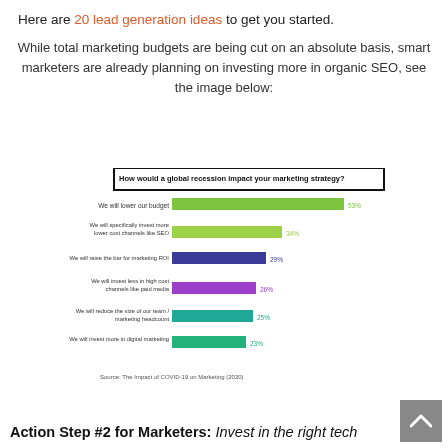Here are 20 lead generation ideas to get you started.
While total marketing budgets are being cut on an absolute basis, smart marketers are already planning on investing more in organic SEO, see the image below:
[Figure (bar-chart): How would a global recession impact your marketing strategy?]
Source: The Impact of COVID-19 on Marketing (2020)
Action Step #2 for Marketers: Invest in the right tech